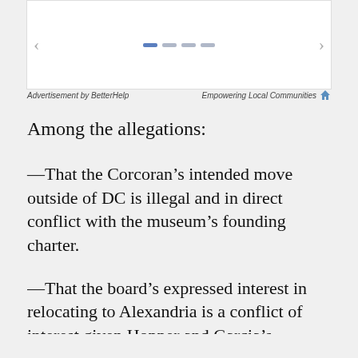[Figure (screenshot): Advertisement carousel with left/right arrows and navigation dots on white background]
Advertisement by BetterHelp     Empowering Local Communities
Among the allegations:
—That the Corcoran's intended move outside of DC is illegal and in direct conflict with the museum's founding charter.
—That the board's expressed interest in relocating to Alexandria is a conflict of interest given Hopper and Garcia's involvement in the development of the